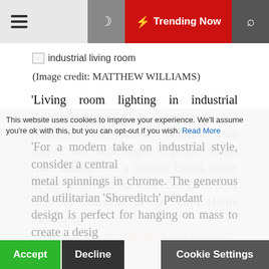≡  ☾  ⚡ Trending Now  🔍
[Figure (photo): Broken image placeholder labeled 'industrial living room']
(Image credit: MATTHEW WILLIAMS)
'Living room lighting in industrial buildings was often oversized and practical, with classic industrial era shapes and metal cages to protect bulbs from damage. As a historic brand, many of the designs in our collection have their roots in industrial design.' says Hollie Moreland, Creative Director, David Hunt Lighting.
'For a modern take on industrial style, consider a central metal spinnings in chrome. The generous and utilitarian 'Shoreditch' pendant design is perfect for hanging on mass to create a design...
This website uses cookies to improve your experience. We'll assume you're ok with this, but you can opt-out if you wish. Read More